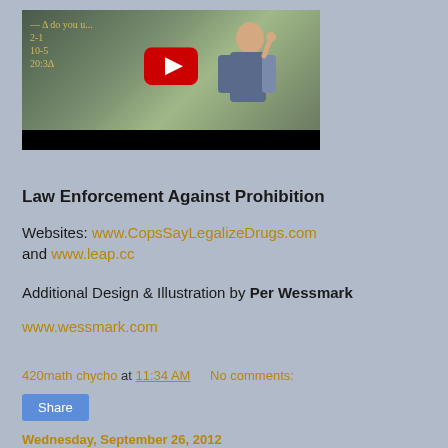[Figure (screenshot): YouTube video thumbnail showing a bald man with a beard standing in front of a chalkboard with math equations. A large red YouTube play button is overlaid in the center.]
Law Enforcement Against Prohibition
Websites: www.CopsSayLegalizeDrugs.com and www.leap.cc
Additional Design & Illustration by Per Wessmark
www.wessmark.com
420math chycho at 11:34 AM   No comments:
Share
Wednesday, September 26, 2012